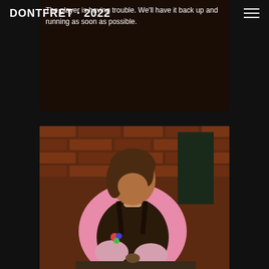DONTFRET · 2022
The player is having trouble. We'll have it back up and running as soon as possible.
[Figure (photo): Person wearing a pink sweatshirt and a dark apron, working with their hands at a table. Brick wall visible in background. The person has brown hair and is wearing pink gloves.]